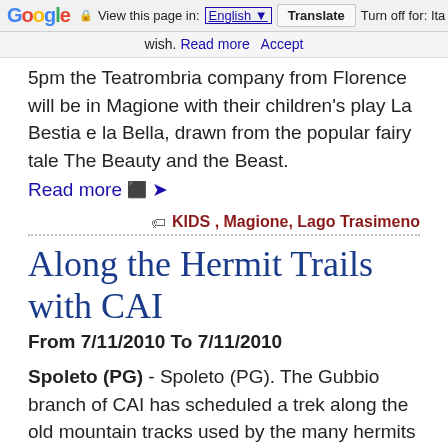Google  View this page in: English [▼]  Translate  Turn off for: Ita
wish. Read more  Accept
5pm the Teatrombria company from Florence will be in Magione with their children's play La Bestia e la Bella, drawn from the popular fairy tale The Beauty and the Beast.
Read more ➔
KIDS , Magione, Lago Trasimeno
Along the Hermit Trails with CAI
From 7/11/2010 To 7/11/2010
Spoleto (PG) - Spoleto (PG). The Gubbio branch of CAI has scheduled a trek along the old mountain tracks used by the many hermits of the area through the